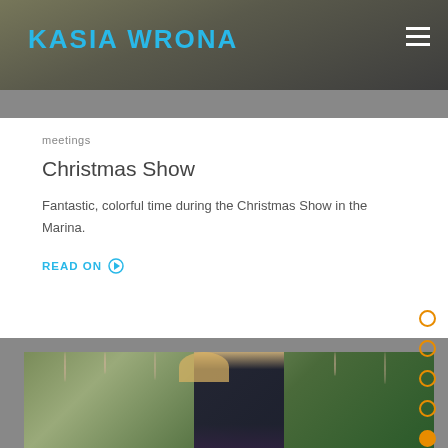KASIA WRONA
meetings
Christmas Show
Fantastic, colorful time during the Christmas Show in the Marina.
READ ON
[Figure (photo): Woman with long blonde hair wearing sunglasses and a black dress with pink/magenta sleeves, posing outdoors at a Christmas show in the Marina, surrounded by hanging decorations and green trees.]